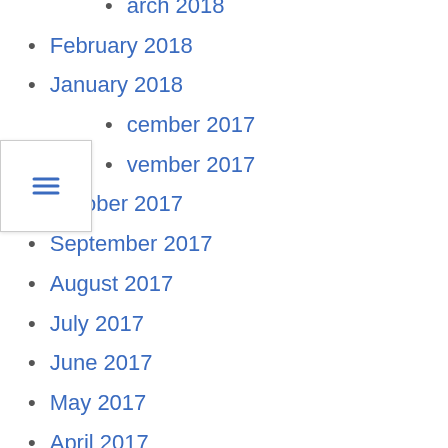March 2018
February 2018
January 2018
December 2017
November 2017
October 2017
September 2017
August 2017
July 2017
June 2017
May 2017
April 2017
March 2017
February 2017
January 2017
December 2016
November 2016
October 2016
September 2016